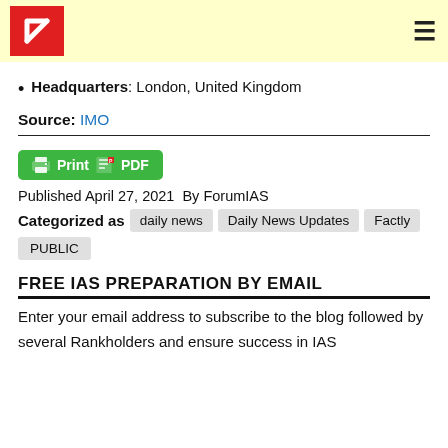ForumIAS logo and navigation
Headquarters: London, United Kingdom
Source: IMO
[Figure (other): Print & PDF button in green]
Published April 27, 2021  By ForumIAS
Categorized as  daily news  Daily News Updates  Factly  PUBLIC
FREE IAS PREPARATION BY EMAIL
Enter your email address to subscribe to the blog followed by several Rankholders and ensure success in IAS